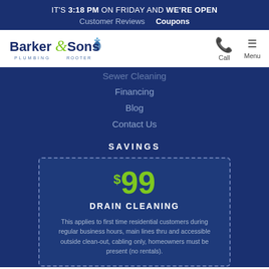IT'S 3:18 PM ON FRIDAY AND WE'RE OPEN
Customer Reviews   Coupons
[Figure (logo): Barker & Sons Plumbing Rooter logo with green ampersand and water drop icon]
Sewer Cleaning
Financing
Blog
Contact Us
SAVINGS
$99 DRAIN CLEANING
This applies to first time residential customers during regular business hours, main lines thru and accessible outside clean-out, cabling only, homeowners must be present (no rentals).